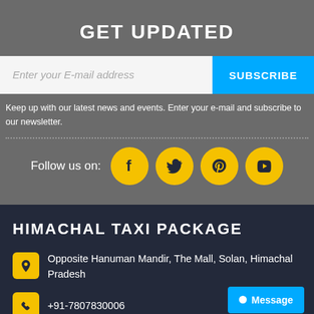GET UPDATED
Enter your E-mail address
SUBSCRIBE
Keep up with our latest news and events. Enter your e-mail and subscribe to our newsletter.
[Figure (infographic): Follow us on social media icons: Facebook, Twitter, Pinterest, YouTube - all in yellow circles]
HIMACHAL TAXI PACKAGE
Opposite Hanuman Mandir, The Mall, Solan, Himachal Pradesh
+91-7807830006
Message